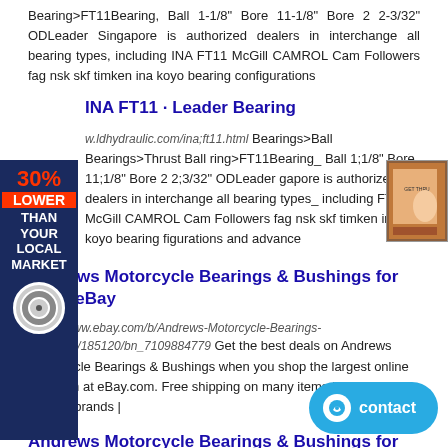Bearing>FT11Bearing, Ball 1-1/8" Bore 11-1/8" Bore 2 2-3/32" ODLeader Singapore is authorized dealers in interchange all bearing types, including INA FT11 McGill CAMROL Cam Followers fag nsk skf timken ina koyo bearing configurations
INA FT11 · Leader Bearing
www.ldhydraulic.com/ina;ft11.html Bearings>Ball Bearings>Thrust Ball ring>FT11Bearing_ Ball 1;1/8" Bore 11;1/8" Bore 2 2;3/32" ODLeader gapore is authorized dealers in interchange all bearing types_ including FT11 McGill CAMROL Cam Followers fag nsk skf timken ina koyo bearing figurations and advance
Andrews Motorcycle Bearings & Bushings for sale | eBay
https://www.ebay.com/b/Andrews-Motorcycle-Bearings-Bushings/185120/bn_7109884779 Get the best deals on Andrews Motorcycle Bearings & Bushings when you shop the largest online selection at eBay.com. Free shipping on many items | Browse your favorite brands |
Andrews Motorcycle Bearings & Bushings for sale | eBay
https://www.ebay.com/b/Andrews-Motorcycle-Bearings-Bushings/185120/bn!7109884779 Get the best deals on Andrews Motorcycle Bearings & Bushings when you shop the largest online selection at eBay.com. Free shipping on many items | Browse your favorite brands | affordable